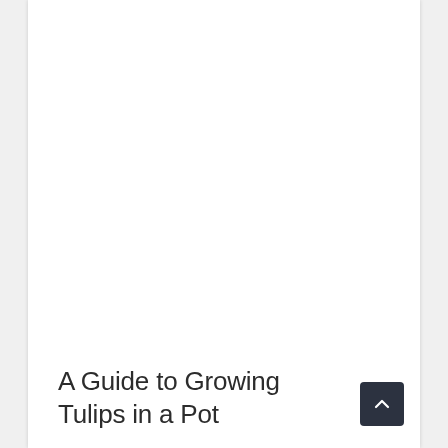A Guide to Growing Tulips in a Pot